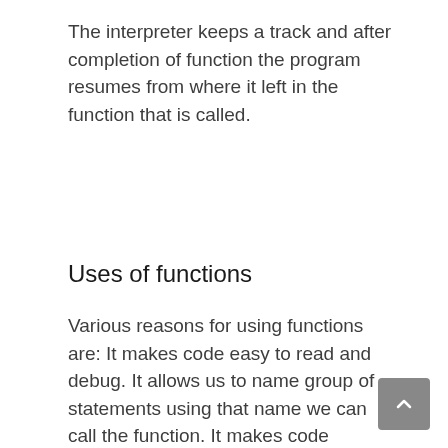The interpreter keeps a track and after completion of function the program resumes from where it left in the function that is called.
Uses of functions
Various reasons for using functions are: It makes code easy to read and debug. It allows us to name group of statements using that name we can call the function. It makes code modules and increases modularity of code.